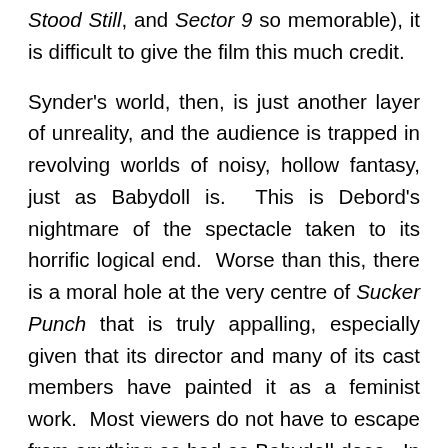Stood Still, and Sector 9 so memorable), it is difficult to give the film this much credit.
Synder's world, then, is just another layer of unreality, and the audience is trapped in revolving worlds of noisy, hollow fantasy, just as Babydoll is.  This is Debord's nightmare of the spectacle taken to its horrific logical end.  Worse than this, there is a moral hole at the very centre of Sucker Punch that is truly appalling, especially given that its director and many of its cast members have painted it as a feminist work.  Most viewers do not have to escape from anything as bad as Babydoll does.  In the film's single scariest moment, Synder takes us into a filthy room with a solitary mattress on the floor and reveals the the hospital is witness to the serial rape of its young female inmates at the hands of a slovenly orderly.  That Synder takes the silly, superficial Sucker Punch to levels of human depravity